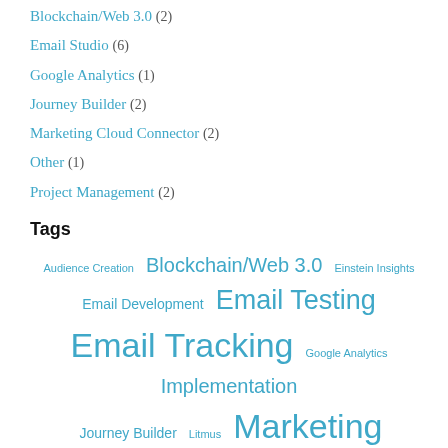Blockchain/Web 3.0 (2)
Email Studio (6)
Google Analytics (1)
Journey Builder (2)
Marketing Cloud Connector (2)
Other (1)
Project Management (2)
Tags
Audience Creation  Blockchain/Web 3.0  Einstein Insights  Email Development  Email Testing  Email Tracking  Google Analytics  Implementation  Journey Builder  Litmus  Marketing Cloud Connector